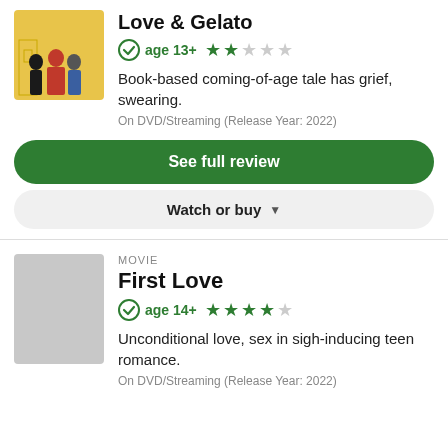Love & Gelato
age 13+ ★★☆☆☆
Book-based coming-of-age tale has grief, swearing.
On DVD/Streaming (Release Year: 2022)
See full review
Watch or buy
MOVIE
First Love
age 14+ ★★★★☆
Unconditional love, sex in sigh-inducing teen romance.
On DVD/Streaming (Release Year: 2022)